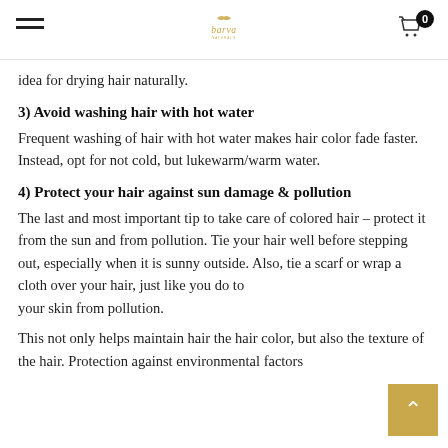barva [logo] | hamburger menu | cart 0
idea for drying hair naturally.
3) Avoid washing hair with hot water
Frequent washing of hair with hot water makes hair color fade faster. Instead, opt for not cold, but lukewarm/warm water.
4) Protect your hair against sun damage & pollution
The last and most important tip to take care of colored hair – protect it from the sun and from pollution. Tie your hair well before stepping out, especially when it is sunny outside. Also, tie a scarf or wrap a cloth over your hair, just like you do to your skin from pollution.
This not only helps maintain hair the hair color, but also the texture of the hair. Protection against environmental factors